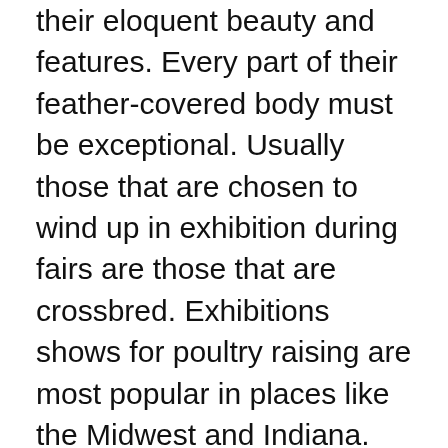their eloquent beauty and features. Every part of their feather-covered body must be exceptional. Usually those that are chosen to wind up in exhibition during fairs are those that are crossbred. Exhibitions shows for poultry raising are most popular in places like the Midwest and Indiana.
Usually, chickens are judged based on their color, breed type that’s supposed to be ideal, their body weight and shape, etc.
Bantams are one of the chicken types that outnumbered larger fowls during shows. They have a characteristic that a judge would adore – takes less space, easier to feed, eat less, and easy to handle. Their eggs are also expected to be small